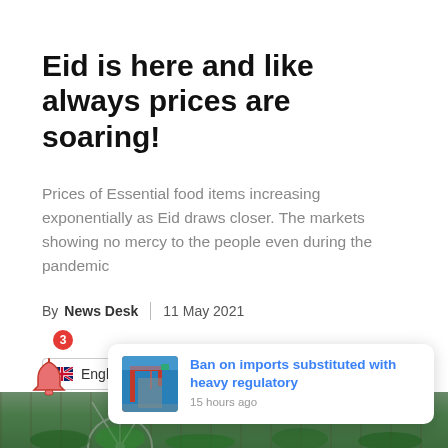Eid is here and like always prices are soaring!
Prices of Essential food items increasing exponentially as Eid draws closer. The markets showing no mercy to the people even during the pandemic
By News Desk | 11 May 2021
[Figure (screenshot): Language selector dropdown showing UK flag and 'English' label with dropdown arrow]
[Figure (photo): Market scene showing vegetables and produce with a fan visible, partially obscured by notification overlay]
[Figure (screenshot): Push notification popup: 'Ban on imports substituted with heavy regulatory' with thumbnail image and '15 hours ago' timestamp]